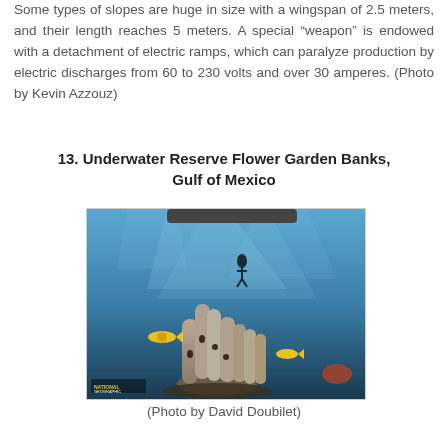Some types of slopes are huge in size with a wingspan of 2.5 meters, and their length reaches 5 meters. A special “weapon” is endowed with a detachment of electric ramps, which can paralyze production by electric discharges from 60 to 230 volts and over 30 amperes. (Photo by Kevin Azzouz)
13. Underwater Reserve Flower Garden Banks, Gulf of Mexico
[Figure (photo): Underwater photograph showing coral formations (finger sponges) in the foreground with yellow fish swimming around them, and a diver silhouetted in blue water above. National Geographic watermark visible.]
(Photo by David Doubilet)